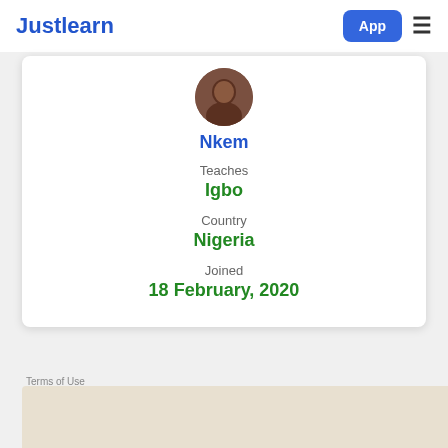Justlearn
[Figure (photo): Profile photo of Nkem, a circular cropped portrait photo]
Nkem
Teaches
Igbo
Country
Nigeria
Joined
18 February, 2020
Terms of Use